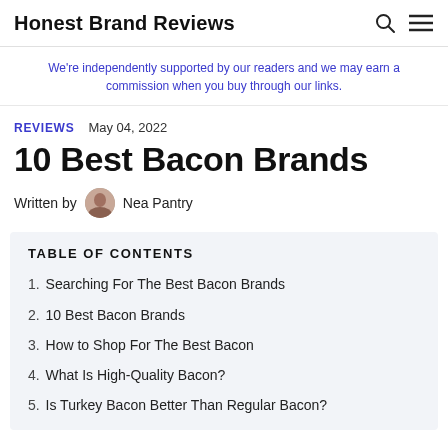Honest Brand Reviews
We're independently supported by our readers and we may earn a commission when you buy through our links.
REVIEWS   May 04, 2022
10 Best Bacon Brands
Written by  Nea Pantry
TABLE OF CONTENTS
1. Searching For The Best Bacon Brands
2. 10 Best Bacon Brands
3. How to Shop For The Best Bacon
4. What Is High-Quality Bacon?
5. Is Turkey Bacon Better Than Regular Bacon?